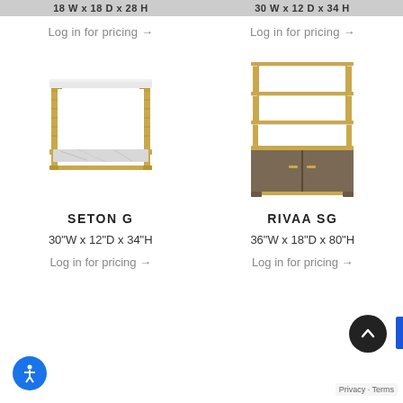18 W x 18 D x 28 H
30 W x 12 D x 34 H
Log in for pricing →
Log in for pricing →
[Figure (photo): SETON G side table with gold metal frame and marble lower shelf]
[Figure (photo): RIVAA SG etagere with gold metal frame, glass shelves, and dark wood cabinet base]
SETON G
RIVAA SG
30"W x 12"D x 34"H
36"W x 18"D x 80"H
Log in for pricing →
Log in for pricing →